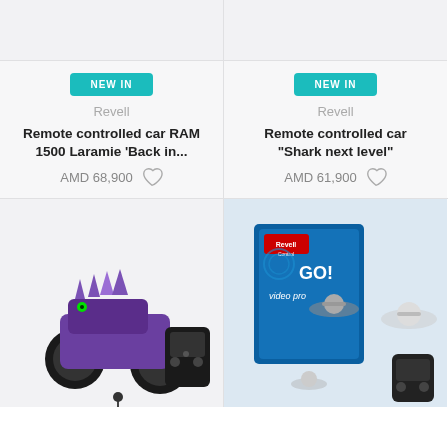[Figure (photo): Top portion of remote controlled car product image (cropped) - left card]
[Figure (photo): Top portion of remote controlled car product image (cropped) - right card]
NEW IN
Revell
Remote controlled car RAM 1500 Laramie 'Back in...
AMD 68,900
NEW IN
Revell
Remote controlled car "Shark next level"
AMD 61,900
[Figure (photo): Monster truck remote controlled car toy with purple dinosaur design and remote controller]
[Figure (photo): Revell Control GO! Video Pro drone product box with drone and remote controller]